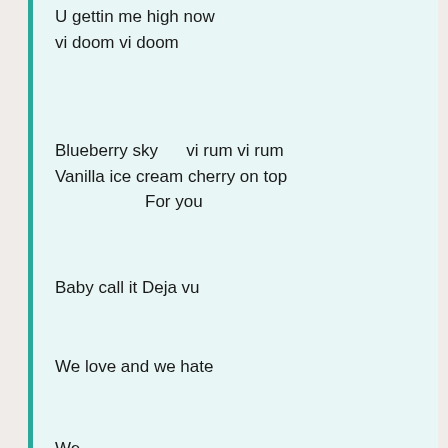U gettin me high now
vi doom vi doom
Blueberry sky    vi rum vi rum
Vanilla ice cream cherry on top
                   For you
Baby call it Deja vu
We love and we hate
We...